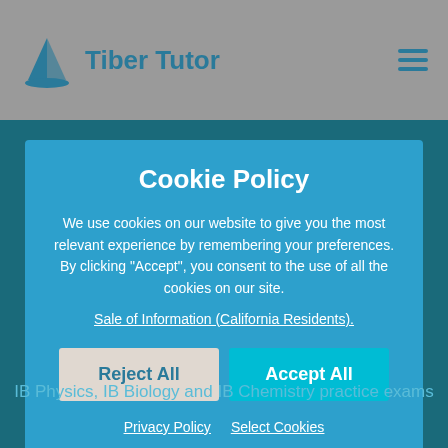Tiber Tutor
Cookie Policy
We use cookies on our website to give you the most relevant experience by remembering your preferences. By clicking “Accept”, you consent to the use of all the cookies on our site.
Sale of Information (California Residents).
Reject All
Accept All
Privacy Policy   Select Cookies
IB Physics, IB Biology and IB Chemistry practice exams